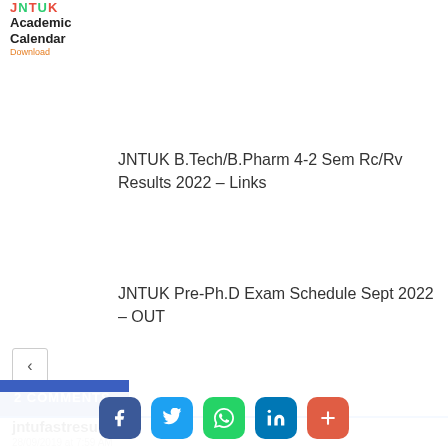[Figure (logo): JNTUK Academic Calendar Download logo in top-left corner with colorful letters]
JNTUK B.Tech/B.Pharm 4-2 Sem Rc/Rv Results 2022 – Links
JNTUK Pre-Ph.D Exam Schedule Sept 2022 – OUT
2 COMMENTS
jntufastresult
28/09/2019 at 7:59 AM
[Figure (infographic): Social sharing bar with Facebook, Twitter, WhatsApp, LinkedIn, and More buttons]